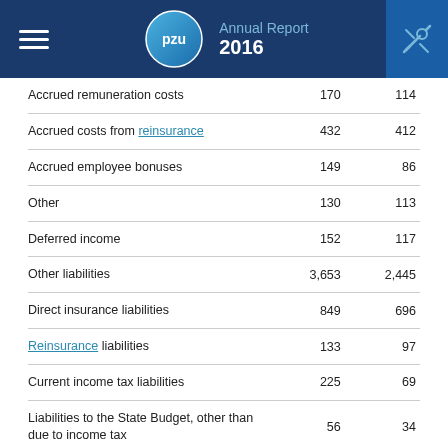Annual Report 2016
|  |  |  |
| --- | --- | --- |
| Accrued remuneration costs | 170 | 114 |
| Accrued costs from reinsurance | 432 | 412 |
| Accrued employee bonuses | 149 | 86 |
| Other | 130 | 113 |
| Deferred income | 152 | 117 |
| Other liabilities | 3,653 | 2,445 |
| Direct insurance liabilities | 849 | 696 |
| Reinsurance liabilities | 133 | 97 |
| Current income tax liabilities | 225 | 69 |
| Liabilities to the State Budget, other than due to income tax | 56 | 34 |